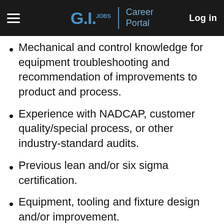GI.JOBS | Career Portal   Log in
Mechanical and control knowledge for equipment troubleshooting and recommendation of improvements to product and process.
Experience with NADCAP, customer quality/special process, or other industry-standard audits.
Previous lean and/or six sigma certification.
Equipment, tooling and fixture design and/or improvement.